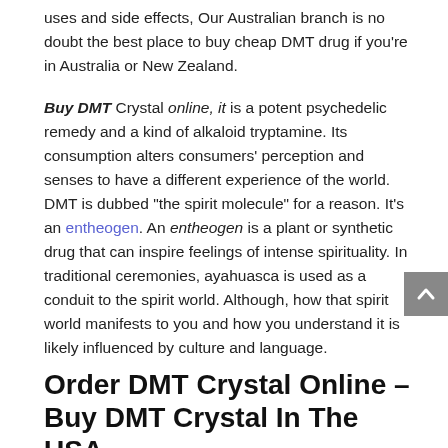uses and side effects, Our Australian branch is no doubt the best place to buy cheap DMT drug if you're in Australia or New Zealand.
Buy DMT Crystal online, it is a potent psychedelic remedy and a kind of alkaloid tryptamine. Its consumption alters consumers' perception and senses to have a different experience of the world.
DMT is dubbed “the spirit molecule” for a reason. It’s an entheogen. An entheogen is a plant or synthetic drug that can inspire feelings of intense spirituality. In traditional ceremonies, ayahuasca is used as a conduit to the spirit world. Although, how that spirit world manifests to you and how you understand it is likely influenced by culture and language.
Order DMT Crystal Online – Buy DMT Crystal In The USA